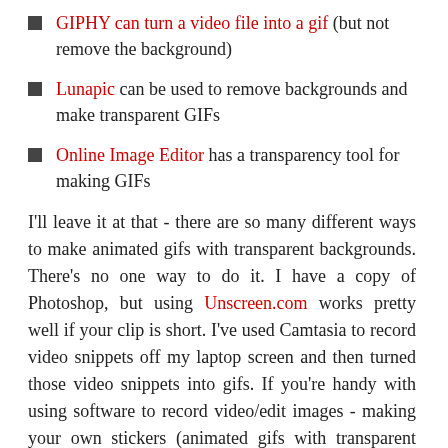GIPHY can turn a video file into a gif (but not remove the background)
Lunapic can be used to remove backgrounds and make transparent GIFs
Online Image Editor has a transparency tool for making GIFs
I'll leave it at that - there are so many different ways to make animated gifs with transparent backgrounds. There's no one way to do it. I have a copy of Photoshop, but using Unscreen.com works pretty well if your clip is short. I've used Camtasia to record video snippets off my laptop screen and then turned those video snippets into gifs. If you're handy with using software to record video/edit images - making your own stickers (animated gifs with transparent backgrounds) will come naturally. If you've never worked with images or video in this